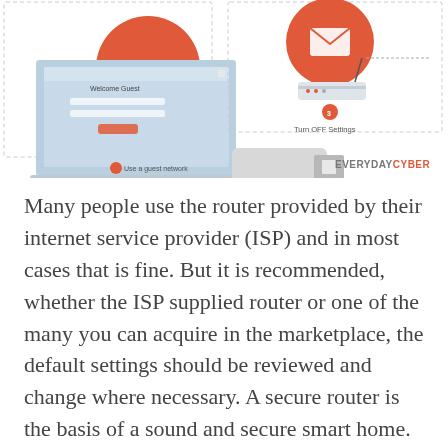[Figure (infographic): Top portion of an infographic showing two sections: left side shows a laptop with 'Welcome Guest' screen and a USB device with a red circle labeled 'Use a guest network'; right side shows a router illustration with a red circle numbered 3 labeled 'Turn OFF Settings'. Brand logo 'EVERYDAYCYBER' in bottom right.]
Many people use the router provided by their internet service provider (ISP) and in most cases that is fine. But it is recommended, whether the ISP supplied router or one of the many you can acquire in the marketplace, the default settings should be reviewed and change where necessary. A secure router is the basis of a sound and secure smart home.